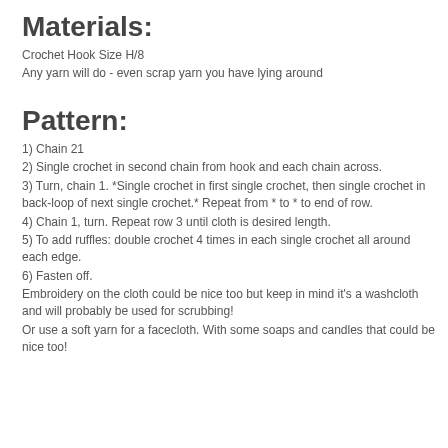Materials:
Crochet Hook Size H/8
Any yarn will do - even scrap yarn you have lying around
Pattern:
1) Chain 21
2) Single crochet in second chain from hook and each chain across.
3) Turn, chain 1. *Single crochet in first single crochet, then single crochet in back-loop of next single crochet.* Repeat from * to * to end of row.
4) Chain 1, turn. Repeat row 3 until cloth is desired length.
5) To add ruffles: double crochet 4 times in each single crochet all around each edge.
6) Fasten off.
Embroidery on the cloth could be nice too but keep in mind it's a washcloth and will probably be used for scrubbing!
Or use a soft yarn for a facecloth. With some soaps and candles that could be nice too!